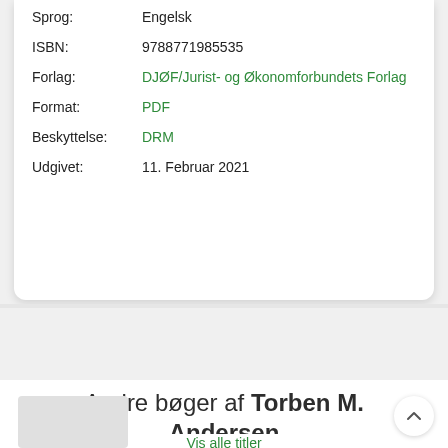| Sprog: | Engelsk |
| ISBN: | 9788771985535 |
| Forlag: | DJØF/Jurist- og Økonomforbundets Forlag |
| Format: | PDF |
| Beskyttelse: | DRM |
| Udgivet: | 11. Februar 2021 |
[Figure (illustration): Dark bookmark icon with a person silhouette in white]
Andre bøger af Torben M. Andersen
Vis alle titler